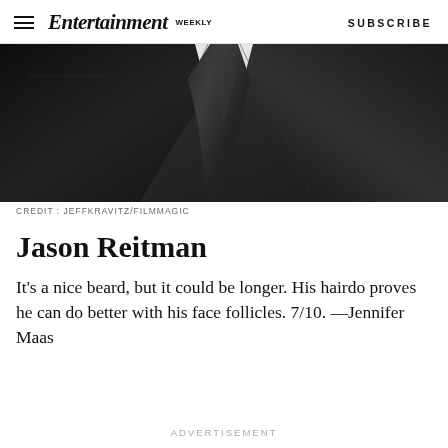Entertainment Weekly — SUBSCRIBE
[Figure (photo): Close-up photo of a person wearing a dark suit and dark tie, cropped to show neck/chest area with no face visible.]
CREDIT: JEFFKRAVITZ/FILMMAGIC
Jason Reitman
It's a nice beard, but it could be longer. His hairdo proves he can do better with his face follicles. 7/10. —Jennifer Maas
ADVERTISEMENT